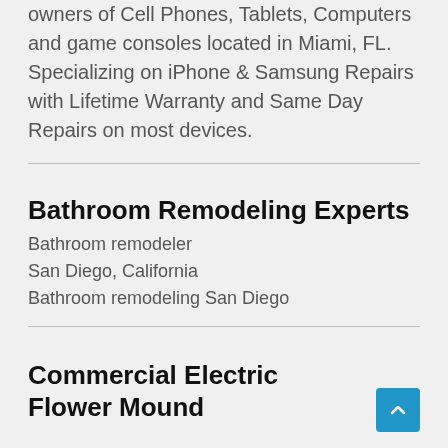We are the one-stop repair shop for device owners of Cell Phones, Tablets, Computers and game consoles located in Miami, FL. Specializing on iPhone & Samsung Repairs with Lifetime Warranty and Same Day Repairs on most devices.
Bathroom Remodeling Experts
Bathroom remodeler
San Diego, California
Bathroom remodeling San Diego
Commercial Electric Flower Mound